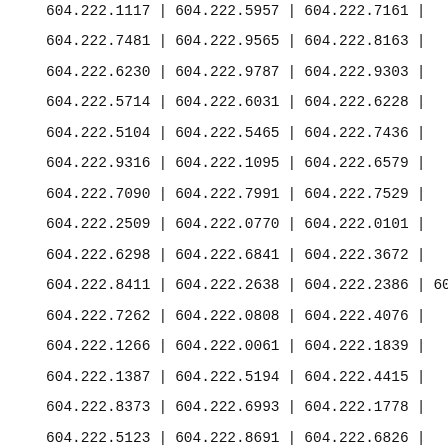| col1 | col2 | col3 | col4 |
| --- | --- | --- | --- |
| 604.222.1117 | 604.222.5957 | 604.222.7161 |  |
| 604.222.7481 | 604.222.9565 | 604.222.8163 |  |
| 604.222.6230 | 604.222.9787 | 604.222.9303 |  |
| 604.222.5714 | 604.222.6031 | 604.222.6228 |  |
| 604.222.5104 | 604.222.5465 | 604.222.7436 |  |
| 604.222.9316 | 604.222.1095 | 604.222.6579 |  |
| 604.222.7090 | 604.222.7991 | 604.222.7529 |  |
| 604.222.2509 | 604.222.0770 | 604.222.0101 |  |
| 604.222.6298 | 604.222.6841 | 604.222.3672 |  |
| 604.222.8411 | 604.222.2638 | 604.222.2386 | 604.222.64 |
| 604.222.7262 | 604.222.0808 | 604.222.4076 |  |
| 604.222.1266 | 604.222.0061 | 604.222.1839 |  |
| 604.222.1387 | 604.222.5194 | 604.222.4415 |  |
| 604.222.8373 | 604.222.6993 | 604.222.1778 |  |
| 604.222.5123 | 604.222.8691 | 604.222.6826 |  |
| 604.222.9104 | 604.222.2265 | 604.222.4602 |  |
| 604.222.2657 | 604.222.0968 | 604.222.0559 |  |
| 604.222.8016 | 604.222.9108 | 604.222.8433 |  |
| 604.222.5000 | 604.222.0005 | 604.222.1000 |  |